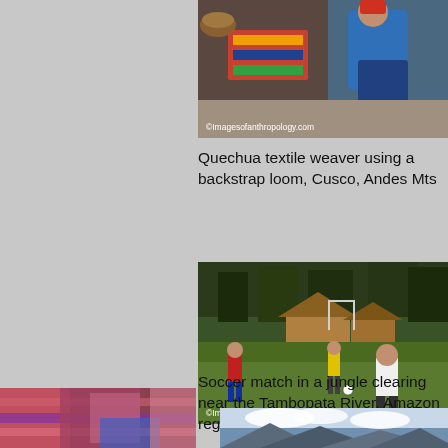[Figure (photo): Quechua textile weaver using a backstrap loom, Cusco, Andes Mts. Partial view showing colorful woven textiles and hands. Watermark: ©Imagesofanthropology.com]
Quechua textile weaver using a backstrap loom, Cusco, Andes Mts
[Figure (photo): Soccer match in a jungle clearing near the Tambopata River, Amazon region. Children playing soccer on grass clearing with thatched-roof huts and trees in background. Watermark: ©Imagesofanthropology.com]
Soccer match in a jungle clearing near the Tambopata River, Amazon region
[Figure (photo): Partial photo bottom left - colorful textiles or clothing close-up]
[Figure (photo): Partial photo bottom right - mountain landscape with clouds]